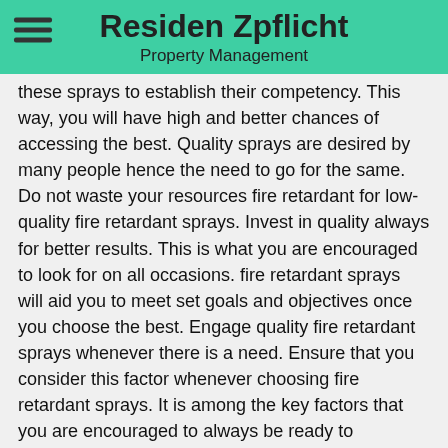Residen Zpflicht
Property Management
these sprays to establish their competency. This way, you will have high and better chances of accessing the best. Quality sprays are desired by many people hence the need to go for the same. Do not waste your resources fire retardant for low-quality fire retardant sprays. Invest in quality always for better results. This is what you are encouraged to look for on all occasions. fire retardant sprays will aid you to meet set goals and objectives once you choose the best. Engage quality fire retardant sprays whenever there is a need. Ensure that you consider this factor whenever choosing fire retardant sprays. It is among the key factors that you are encouraged to always be ready to consider.
When choosing fire retardant sprays, there is a need to consider the cost. Different providers of these sprays will charge you differently. Research and identify these differences. Know the benefit of each. This will be of great guidance to you. Ensure that you go for fire retardant sprays that offer you value for your money. Economical fire retardant sprays should be embraced by all. Learn more about this and be ready to make your best choice. This is the right and the best